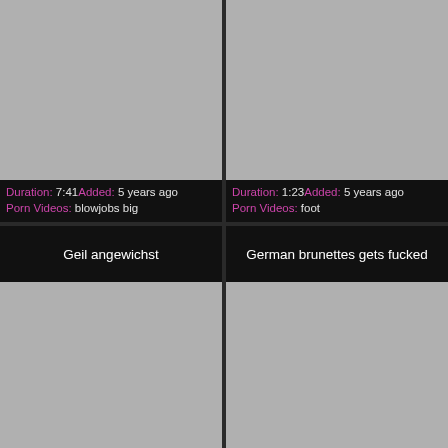[Figure (screenshot): Gray thumbnail placeholder for video]
Duration: 7:41Added: 5 years ago
Porn Videos: blowjobs big
[Figure (screenshot): Gray thumbnail placeholder for video]
Duration: 1:23Added: 5 years ago
Porn Videos: foot
Geil angewichst
German brunettes gets fucked
[Figure (screenshot): Gray thumbnail placeholder for video]
[Figure (screenshot): Gray thumbnail placeholder for video]